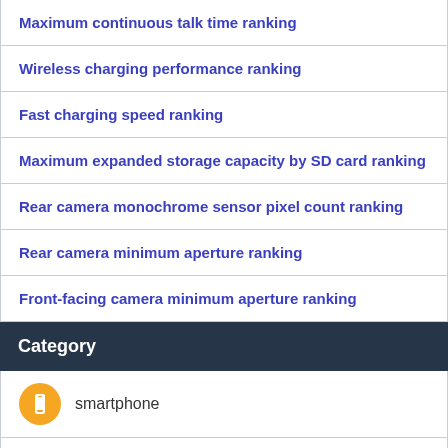Maximum continuous talk time ranking
Wireless charging performance ranking
Fast charging speed ranking
Maximum expanded storage capacity by SD card ranking
Rear camera monochrome sensor pixel count ranking
Rear camera minimum aperture ranking
Front-facing camera minimum aperture ranking
Category
smartphone
undefined
undefined